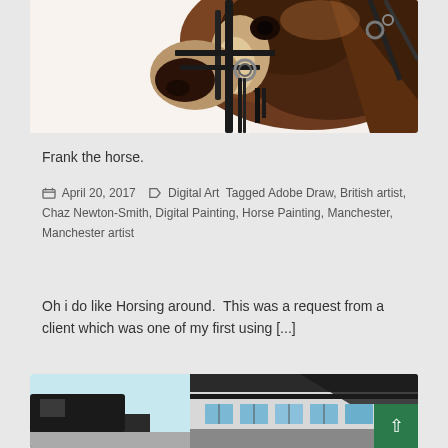[Figure (illustration): Digital painting/illustration of a horse named Frank, showing the horse's head and neck with bridle and reins, rendered in dark brown tones with bold graphic style]
Frank the horse.
April 20, 2017  Digital Art Tagged Adobe Draw, British artist, Chaz Newton-Smith, Digital Painting, Horse Painting, Manchester, Manchester artist
Oh i do like Horsing around.  This was a request from a client which was one of my first using [...]
[Figure (illustration): Digital illustration of a city scene, showing a building with glass windows and architectural elements on a light blue background]